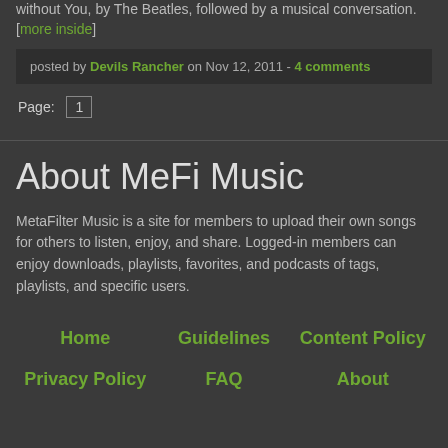without You, by The Beatles, followed by a musical conversation. [more inside]
posted by Devils Rancher on Nov 12, 2011 - 4 comments
Page: 1
About MeFi Music
MetaFilter Music is a site for members to upload their own songs for others to listen, enjoy, and share. Logged-in members can enjoy downloads, playlists, favorites, and podcasts of tags, playlists, and specific users.
Home | Guidelines | Content Policy | Privacy Policy | FAQ | About